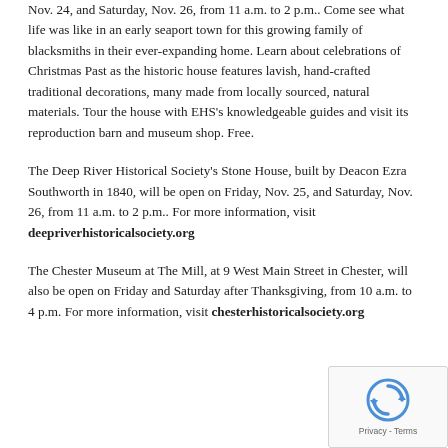Nov. 24, and Saturday, Nov. 26, from 11 a.m. to 2 p.m.. Come see what life was like in an early seaport town for this growing family of blacksmiths in their ever-expanding home. Learn about celebrations of Christmas Past as the historic house features lavish, hand-crafted traditional decorations, many made from locally sourced, natural materials. Tour the house with EHS's knowledgeable guides and visit its reproduction barn and museum shop. Free.
The Deep River Historical Society's Stone House, built by Deacon Ezra Southworth in 1840, will be open on Friday, Nov. 25, and Saturday, Nov. 26, from 11 a.m. to 2 p.m.. For more information, visit deepriverhistoricalsociety.org
The Chester Museum at The Mill, at 9 West Main Street in Chester, will also be open on Friday and Saturday after Thanksgiving, from 10 a.m. to 4 p.m. For more information, visit chesterhistoricalsociety.org